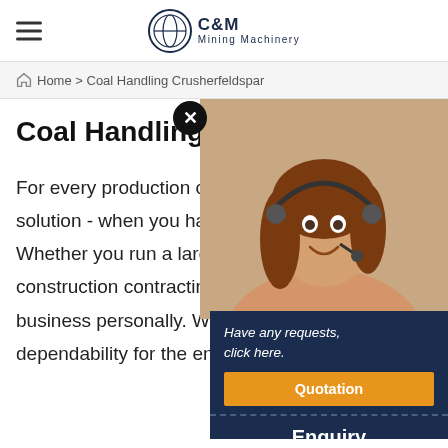C&M Mining Machinery
Home > Coal Handling Crusherfeldspar
Coal Handling Crusherfe
[Figure (photo): Customer service representative woman with headset smiling]
For every production challenge, there is a solution - when you have the right pa... Whether you run a large quarry or a construction contracting business, we... business personally. We offer the hig... dependability for the entire life of you...
Have any requests, click here.
Quotation
Enquiry
drobilkalm@gmail.com
Chat